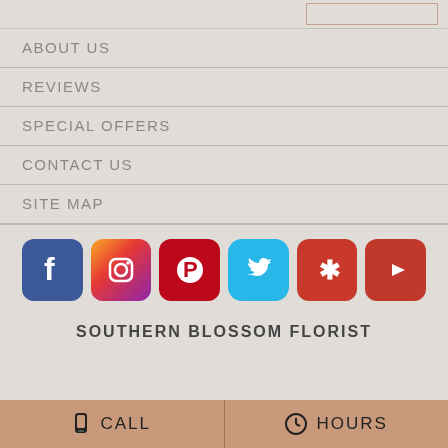ABOUT US
REVIEWS
SPECIAL OFFERS
CONTACT US
SITE MAP
[Figure (infographic): Social media icons row: Facebook, Instagram, Pinterest, Twitter, Yelp, YouTube]
SOUTHERN BLOSSOM FLORIST
CALL   HOURS